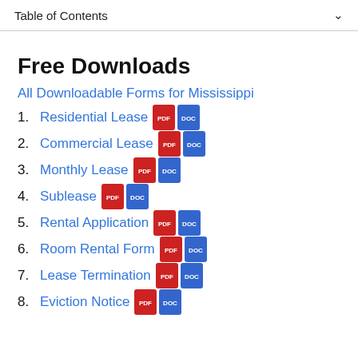Table of Contents
Free Downloads
All Downloadable Forms for Mississippi
1. Residential Lease
2. Commercial Lease
3. Monthly Lease
4. Sublease
5. Rental Application
6. Room Rental Form
7. Lease Termination
8. Eviction Notice